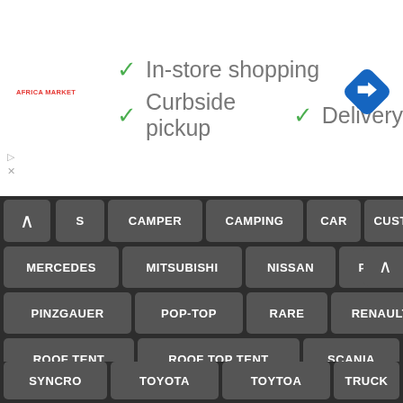[Figure (screenshot): Advertisement banner with store pickup options: In-store shopping, Curbside pickup, Delivery with green checkmarks, store logo on left, navigation icon on right]
✓ In-store shopping
✓ Curbside pickup  ✓ Delivery
S
CAMPER
CAMPING
CAR
CUSTOM
DIESEL
EX-MILITARY
FULL CAMPER
HUGE
IVECO
IVERCO
LAND CRUISER
LAND RO
LANDROVER
LAND ROVER
LARGE
MAN
MERCEDES
MITSUBISHI
NISSAN
PICK-UP
PINZGAUER
POP-TOP
RARE
RENAULT
ROOF TENT
ROOF TOP TENT
SCANIA
SYNCRO
TOYOTA
TOYTOA
TRUCK